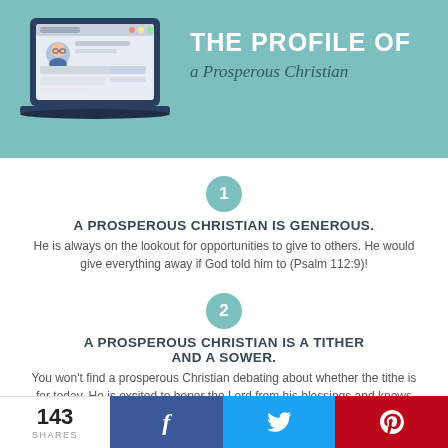[Figure (illustration): Header banner with teal background showing a laptop illustration with a user profile/avatar on screen, and the title 'THE PROFILE OF a Prosperous Christian' in white and dark teal text]
[Figure (infographic): Numbered circle 1 in teal]
A PROSPEROUS CHRISTIAN IS GENEROUS.
He is always on the lookout for opportunities to give to others. He would give everything away if God told him to (Psalm 112:9)!
[Figure (infographic): Numbered circle 2 in teal]
A PROSPEROUS CHRISTIAN IS A TITHER AND A SOWER.
You won't find a prosperous Christian debating about whether the tithe is for today. He is excited to honor the Lord from his blessings and knows the importance of sowing and reaping (2 Corinthians 9:6)!
143 SHARES  [Facebook] [Twitter] [Pinterest]